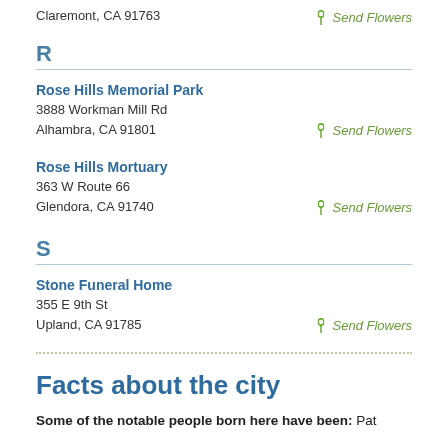Claremont, CA 91763
Send Flowers
R
Rose Hills Memorial Park
3888 Workman Mill Rd
Alhambra, CA 91801
Send Flowers
Rose Hills Mortuary
363 W Route 66
Glendora, CA 91740
Send Flowers
S
Stone Funeral Home
355 E 9th St
Upland, CA 91785
Send Flowers
Facts about the city
Some of the notable people born here have been: Pat